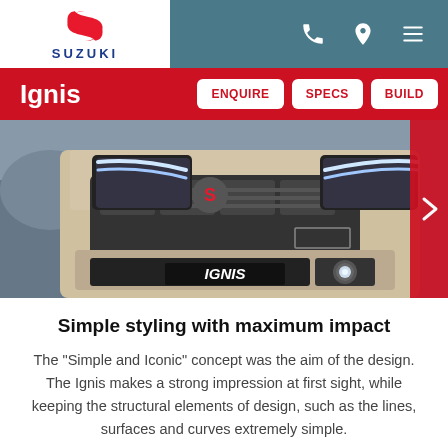SUZUKI — Navigation bar with logo, phone icon, location icon, menu icon
Ignis — ENQUIRE | SPECS | BUILD
[Figure (photo): Close-up front view of a Suzuki Ignis car showing the grille, headlights, fog light, and IGNIS badge on the bumper]
Simple styling with maximum impact
The "Simple and Iconic" concept was the aim of the design. The Ignis makes a strong impression at first sight, while keeping the structural elements of design, such as the lines, surfaces and curves extremely simple.